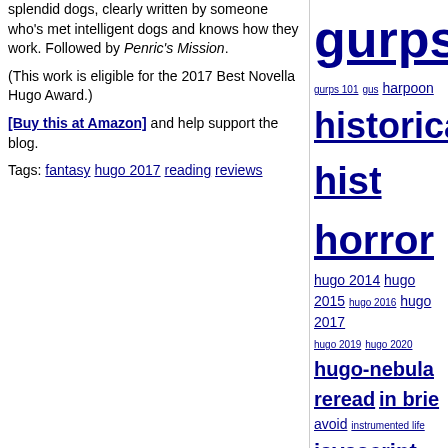splendid dogs, clearly written by someone who's met intelligent dogs and knows how they work. Followed by Penric's Mission.
(This work is eligible for the 2017 Best Novella Hugo Award.)
[Buy this at Amazon] and help support the blog.
Tags: fantasy hugo 2017 reading reviews
[Figure (infographic): Tag cloud with various tags in different font sizes representing frequency/weight. Tags include: gurps, gurps 101, gus, harpoon, historical, historical fiction, horror, hugo 2014, hugo 2015, hugo 2016, hugo 2017, hugo 2019, hugo 2020, hugo-nebula reread, in brief, avoid, instrumented life, javascript, julian simpson, julie enfield, kickstarter, kotlin, learn to play, leaving earth, linux, liquor, lovecraftiana, lua, mecha, men with beards, museum, music, mystery, naval, noir, non-fiction, one for the brow, opera, parody, paul temple, perl, perl weekly challenge, photography, podcast, politics, postscript, power, prediction, privacy, project woolsack, pyracantha, python, rail, raku, ranting, raspberry pi, reading, reading boardgames]